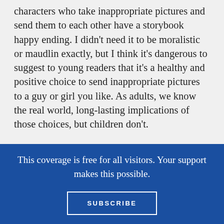characters who take inappropriate pictures and send them to each other have a storybook happy ending. I didn't need it to be moralistic or maudlin exactly, but I think it's dangerous to suggest to young readers that it's a healthy and positive choice to send inappropriate pictures to a guy or girl you like. As adults, we know the real world, long-lasting implications of those choices, but children don't.
I don't think that this one is a good Newbery candidate. In general, I think that the committee needs to stop always aiming for the upper end of the age range, as they seem to hit it every
This coverage is free for all visitors. Your support makes this possible.
SUBSCRIBE